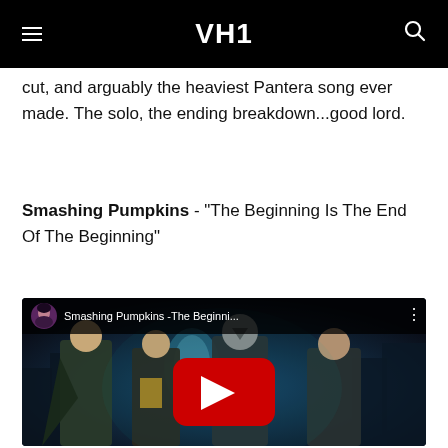VH1
cut, and arguably the heaviest Pantera song ever made. The solo, the ending breakdown...good lord.
Smashing Pumpkins - "The Beginning Is The End Of The Beginning"
[Figure (screenshot): YouTube video embed showing Smashing Pumpkins - The Beginni... with a Watchmen movie scene thumbnail showing superhero characters and a red YouTube play button overlay. Avatar of a woman with dark hair in top left corner of video player.]